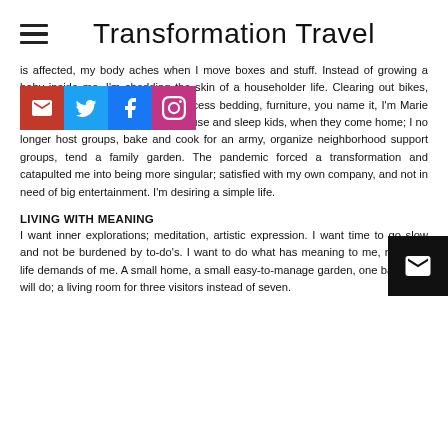Transformation Travel
is affected, my body aches when I move boxes and stuff. Instead of growing a baby inside me, I'm shedding the skin of a householder life. Clearing out bikes, kids' toys, kids' artwork, books, excess bedding, furniture, you name it, I'm Marie Kondoing it! I no longer need to house and sleep kids, when they come home; I no longer host groups, bake and cook for an army, organize neighborhood support groups, tend a family garden. The pandemic forced a transformation and catapulted me into being more singular; satisfied with my own company, and not in need of big entertainment. I'm desiring a simple life.
LIVING WITH MEANING
I want inner explorations; meditation, artistic expression. I want time to go slow and not be burdened by to-do's. I want to do what has meaning to me, not what life demands of me. A small home, a small easy-to-manage garden, one bathroom will do; a living room for three visitors instead of seven.